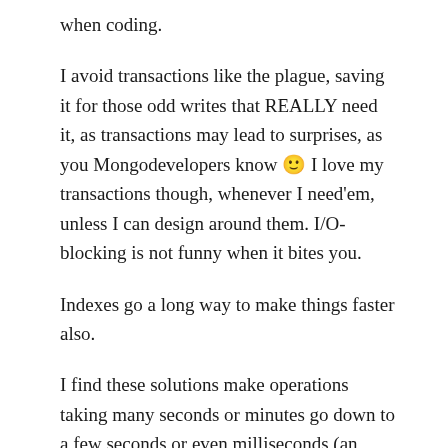when coding.
I avoid transactions like the plague, saving it for those odd writes that REALLY need it, as transactions may lead to surprises, as you Mongodevelopers know 🙂 I love my transactions though, whenever I need'em, unless I can design around them. I/O-blocking is not funny when it bites you.
Indexes go a long way to make things faster also.
I find these solutions make operations taking many seconds or minutes go down to a few seconds or even milliseconds (an order of magnitude or two).
Certainly, doing inserts and updates from a loop is a unnecessary waste of I/O and resources, and any application doing that is in need of some optimization. Am not sure if MongoDB have similar ways to perform bulk operations